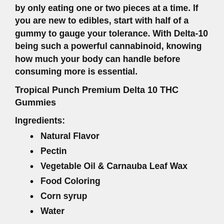by only eating one or two pieces at a time. If you are new to edibles, start with half of a gummy to gauge your tolerance. With Delta-10 being such a powerful cannabinoid, knowing how much your body can handle before consuming more is essential.
Tropical Punch Premium Delta 10 THC Gummies
Ingredients:
Natural Flavor
Pectin
Vegetable Oil & Carnauba Leaf Wax
Food Coloring
Corn syrup
Water